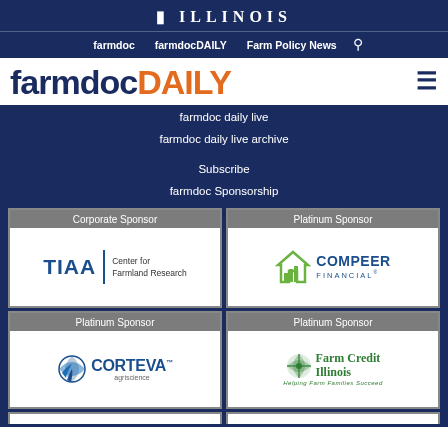I ILLINOIS
farmdoc   farmdocdaily   Farm Policy News
[Figure (logo): farmdocDAILY logo in dark blue and orange]
farmdoc daily live
farmdoc daily live archive
Subscribe
farmdoc Sponsorship
| Corporate Sponsor | Platinum Sponsor |
| --- | --- |
| TIAA | Center for Farmland Research | COMPEER FINANCIAL |
| Platinum Sponsor (Corteva agriscience) | Platinum Sponsor (Farm Credit Illinois - Helping Farm Families Succeed) |
Corporate Sponsor | Platinum Sponsor | Platinum Sponsor | Platinum Sponsor